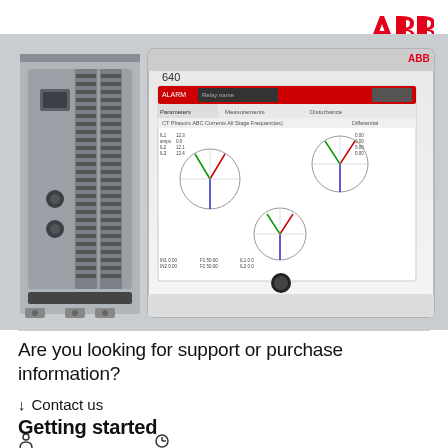[Figure (logo): ABB logo in red on white background, top right corner]
[Figure (photo): ABB REX640 protection relay hardware: left side shows rack-mounted modules with connectors (X1, X2, X3), right side shows the 640 relay panel with a touchscreen display showing phasor diagrams and measurement data, ABB branding visible on top right of panel]
Are you looking for support or purchase information?
↓  Contact us
Getting started